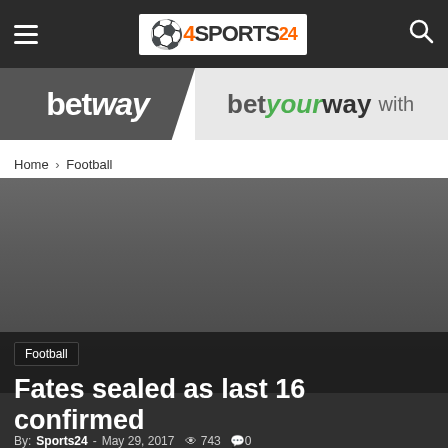Sports24 navigation bar with hamburger menu, Sports24 logo, and search icon
[Figure (illustration): Betway betting advertisement banner: dark grey left panel with 'betway' in white bold text, light grey right panel with 'betyourway with' text]
Home › Football
[Figure (photo): Dark grey/charcoal image area for football article photo]
Football
Fates sealed as last 16 confirmed
By: Sports24 · May 29, 2017   743   0